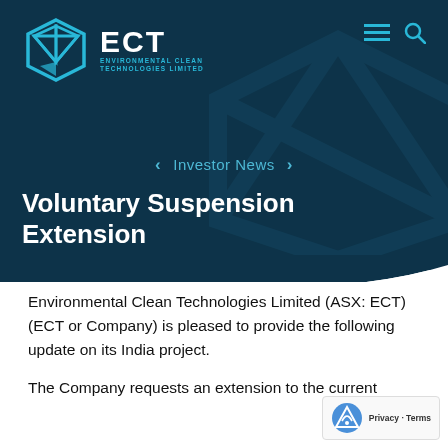[Figure (logo): ECT Environmental Clean Technologies Limited logo with blue geometric hexagonal shield icon and ECT text in white]
Investor News
Voluntary Suspension Extension
17 May 2019  |  ASX Announcements  |
Environmental Clean Technologies Limited (ASX: ECT) (ECT or Company) is pleased to provide the following update on its India project.
The Company requests an extension to the current